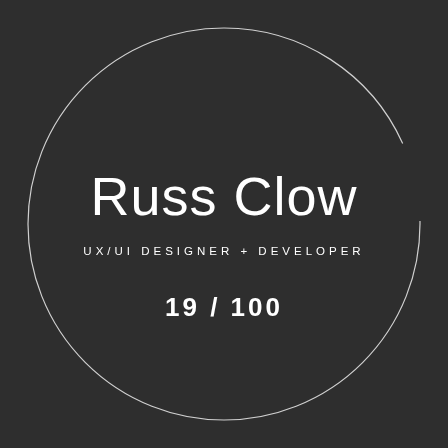[Figure (illustration): Dark circular badge/logo with thin white circle outline on a dark charcoal background. Inside the circle: large thin-weight name 'Russ Clow' in white, subtitle 'UX/UI DESIGNER + DEVELOPER' in small white spaced caps, and '19 / 100' in bold white text below.]
Russ Clow
UX/UI DESIGNER + DEVELOPER
19 / 100